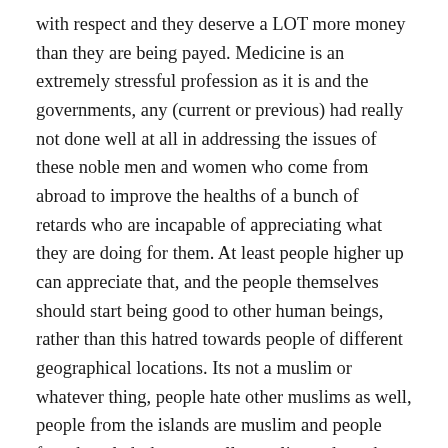with respect and they deserve a LOT more money than they are being payed. Medicine is an extremely stressful profession as it is and the governments, any (current or previous) had really not done well at all in addressing the issues of these noble men and women who come from abroad to improve the healths of a bunch of retards who are incapable of appreciating what they are doing for them. At least people higher up can appreciate that, and the people themselves should start being good to other human beings, rather than this hatred towards people of different geographical locations. Its not a muslim or whatever thing, people hate other muslims as well, people from the islands are muslim and people from bangladesh are usually muslim and yet the locals in male' and even in the islands are neither good to these people, other foreigners or they arent good to their own folk either.